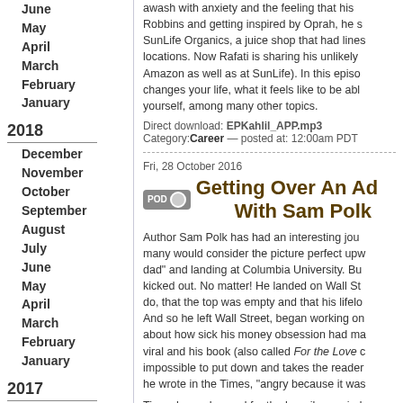June
May
April
March
February
January
2018
December
November
October
September
August
July
June
May
April
March
February
January
2017
December
November
October
September
August
July
June
May
April
March
February
awash with anxiety and the feeling that his life... Robbins and getting inspired by Oprah, he started SunLife Organics, a juice shop that had lines around locations. Now Rafati is sharing his unlikely story... Amazon as well as at SunLife). In this episode... changes your life, what it feels like to be able to... yourself, among many other topics.
Direct download: EPKahlil_APP.mp3
Category:Career — posted at: 12:00am PDT
Fri, 28 October 2016
Getting Over An Ad... With Sam Polk
Author Sam Polk has had an interesting journey... many would consider the picture perfect upbringing... dad" and landing at Columbia University. But then kicked out. No matter! He landed on Wall Street... do, that the top was empty and that his lifelong... And so he left Wall Street, began working on... about how sick his money obsession had made him... viral and his book (also called For the Love of...) impossible to put down and takes the reader... he wrote in the Times, "angry because it was..."
Times have changed for the happily married... the cofounder and CEO of Everytable, a social... the founder and Executive Director of Groceryships... related illnesses. In this episode, we talk about... out but are trapped in gilded cages and the b...
Direct download: EPSamPolk_APP.mp3
Category:Career — posted at: 12:00am PDT